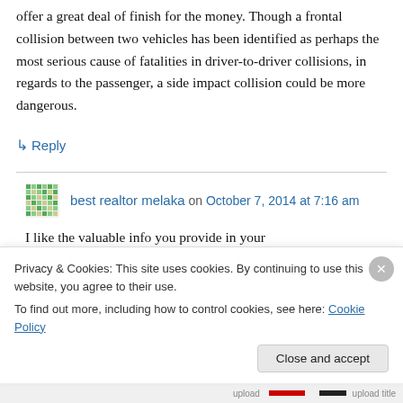offer a great deal of finish for the money. Though a frontal collision between two vehicles has been identified as perhaps the most serious cause of fatalities in driver-to-driver collisions, in regards to the passenger, a side impact collision could be more dangerous.
↳ Reply
best realtor melaka on October 7, 2014 at 7:16 am
I like the valuable info you provide in your
Privacy & Cookies: This site uses cookies. By continuing to use this website, you agree to their use.
To find out more, including how to control cookies, see here: Cookie Policy
Close and accept